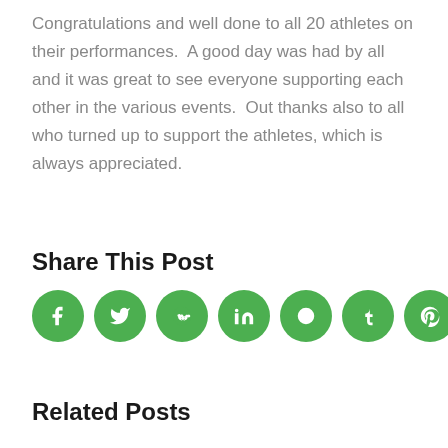Congratulations and well done to all 20 athletes on their performances.  A good day was had by all and it was great to see everyone supporting each other in the various events.  Out thanks also to all who turned up to support the athletes, which is always appreciated.
Share This Post
[Figure (infographic): Seven green circular social media share buttons: Facebook (f), Twitter (bird), Reddit (alien), LinkedIn (in), WhatsApp (phone), Tumblr (t), Pinterest (p)]
Related Posts